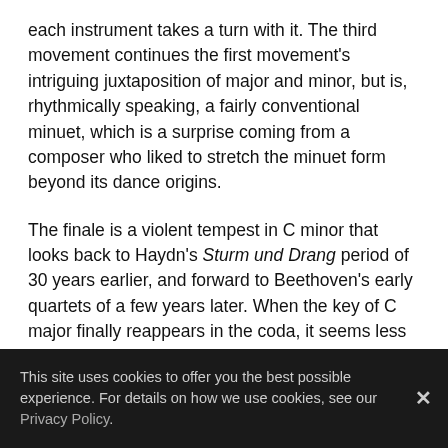each instrument takes a turn with it. The third movement continues the first movement's intriguing juxtaposition of major and minor, but is, rhythmically speaking, a fairly conventional minuet, which is a surprise coming from a composer who liked to stretch the minuet form beyond its dance origins.
The finale is a violent tempest in C minor that looks back to Haydn's Sturm und Drang period of 30 years earlier, and forward to Beethoven's early quartets of a few years later. When the key of C major finally reappears in the coda, it seems less an inevitable development than torrential rain finally ending and the sun coming out, even while the wind is still blowing.
— Notes by Howard Posner
This site uses cookies to offer you the best possible experience. For details on how we use cookies, see our Privacy Policy.